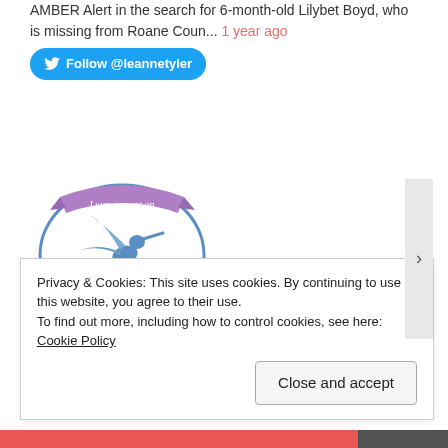AMBER Alert in the search for 6-month-old Lilybet Boyd, who is missing from Roane Coun... 1 year ago
Follow @leannetyler
[Figure (logo): Circular logo with a hummingbird illustration. Purple banner at top reads 'I was a guest on', blue oval border, and text at bottom reads 'The Hummingbird Place'.]
I've been exposed by
Privacy & Cookies: This site uses cookies. By continuing to use this website, you agree to their use.
To find out more, including how to control cookies, see here: Cookie Policy
Close and accept